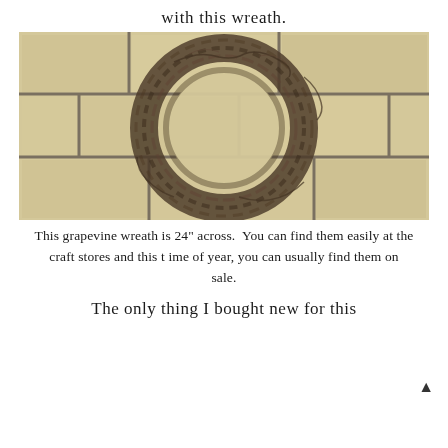with this wreath.
[Figure (photo): A circular grapevine wreath, approximately 24 inches across, resting on a stone tile floor with tan and beige tiles separated by gray grout lines.]
This grapevine wreath is 24" across.  You can find them easily at the craft stores and this time of year, you can usually find them on sale.
The only thing I bought new for this